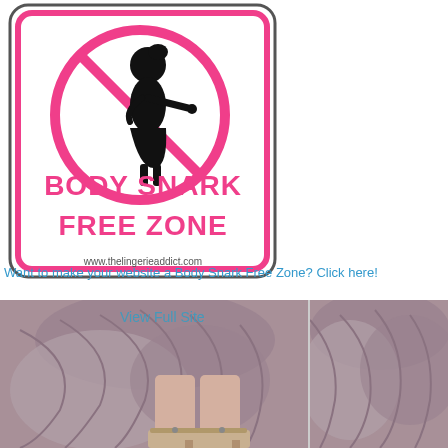[Figure (illustration): Body Snark Free Zone sign with pink border and circle-slash symbol over a woman silhouette, with text 'BODY SNARK FREE ZONE' in pink and 'www.thelingerieaddict.com' below]
Want to make your website a Body Snark Free Zone? Click here!
[Figure (photo): Two photos side by side of a woman's lower body in a draped purple/mauve dress and beige heeled sandals]
View Full Site